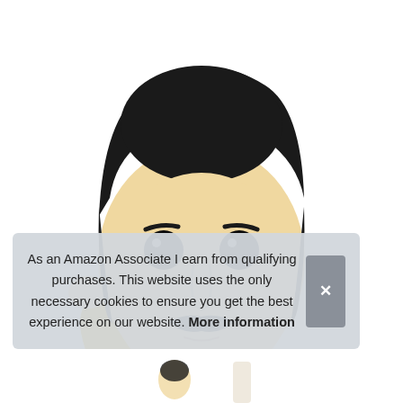[Figure (photo): Funko Pop vinyl figure of Freddie Mercury wearing a yellow jacket, white shirt, with one fist raised, dark hair and mustache, on white background]
As an Amazon Associate I earn from qualifying purchases. This website uses the only necessary cookies to ensure you get the best experience on our website. More information